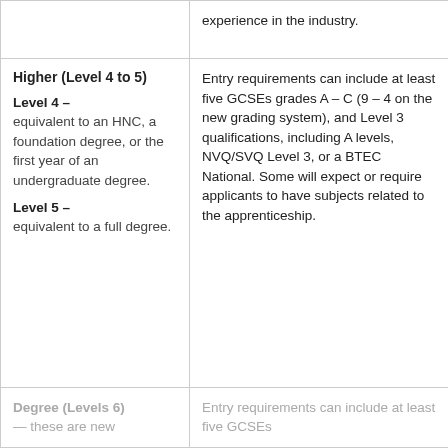experience in the industry.
| Level | Entry Requirements |
| --- | --- |
| Higher (Level 4 to 5)

Level 4 – equivalent to an HNC, a foundation degree, or the first year of an undergraduate degree.

Level 5 – equivalent to a full degree. | Entry requirements can include at least five GCSEs grades A – C (9 – 4 on the new grading system), and Level 3 qualifications, including A levels, NVQ/SVQ Level 3, or a BTEC National. Some will expect or require applicants to have subjects related to the apprenticeship. |
| Degree (Levels 6) — these are new | Entry requirements can include at least five GCSEs |